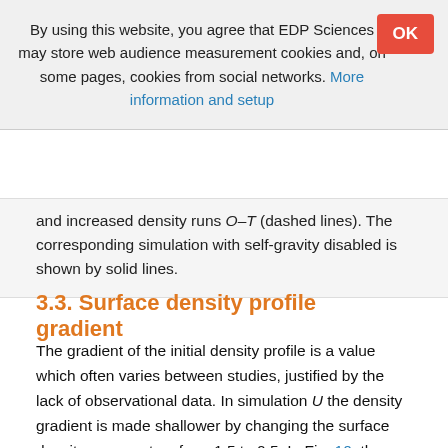By using this website, you agree that EDP Sciences may store web audience measurement cookies and, on some pages, cookies from social networks. More information and setup
and increased density runs O–T (dashed lines). The corresponding simulation with self-gravity disabled is shown by solid lines.
3.3. Surface density profile gradient
The gradient of the initial density profile is a value which often varies between studies, justified by the lack of observational data. In simulation U the density gradient is made shallower by changing the surface density exponent α_Σ from 1.5 to 0.5. In Fig. 10, the radially varying surface density is shown alongside the time evolution of the mean disk eccentricity. Changing